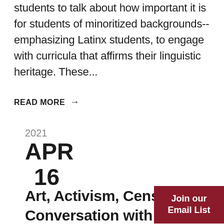Our goal is to bring in scholars, educators, and students to talk about how important it is for students of minoritized backgrounds--emphasizing Latinx students, to engage with curricula that affirms their linguistic heritage. These...
READ MORE →
2021 APR 16
Art, Activism, Censorship: A Conversation with Tania Bruguera
Join our Email List